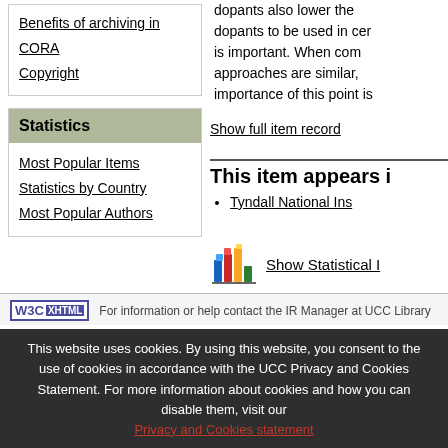Copyright
Statistics
Most Popular Items
Statistics by Country
Most Popular Authors
dopants also lower the dopants to be used in ce is important. When com approaches are similar, importance of this point is
Show full item record
This item appears i
Tyndall National Ins
[Figure (illustration): Colorful bar chart icon / statistics graphic]
Show Statistical I
For information or help contact the IR Manager at UCC Library. This website uses cookies. By using this website, you consent to the use of cookies in accordance with the UCC Privacy and Cookies Statement. For more information about cookies and how you can disable them, visit our Privacy and Cookies statement